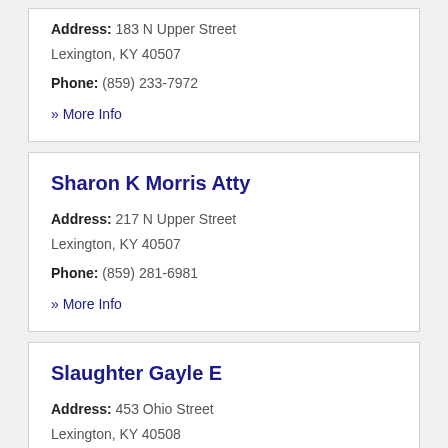Address: 183 N Upper Street Lexington, KY 40507
Phone: (859) 233-7972
» More Info
Sharon K Morris Atty
Address: 217 N Upper Street Lexington, KY 40507
Phone: (859) 281-6981
» More Info
Slaughter Gayle E
Address: 453 Ohio Street Lexington, KY 40508